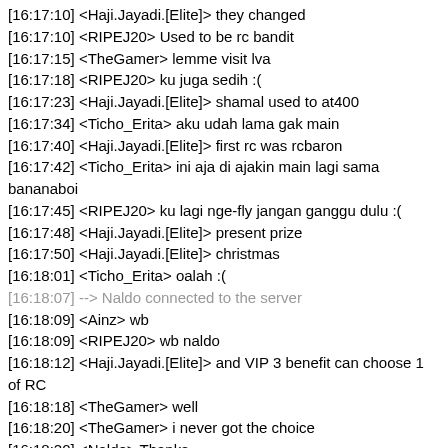[16:17:10] <Haji.Jayadi.[Elite]> they changed
[16:17:10] <RIPEJ20> Used to be rc bandit
[16:17:15] <TheGamer> lemme visit lva
[16:17:18] <RIPEJ20> ku juga sedih :(
[16:17:23] <Haji.Jayadi.[Elite]> shamal used to at400
[16:17:34] <Ticho_Erita> aku udah lama gak main
[16:17:40] <Haji.Jayadi.[Elite]> first rc was rcbaron
[16:17:42] <Ticho_Erita> ini aja di ajakin main lagi sama bananaboi
[16:17:45] <RIPEJ20> ku lagi nge-fly jangan ganggu dulu :(
[16:17:48] <Haji.Jayadi.[Elite]> present prize
[16:17:50] <Haji.Jayadi.[Elite]> christmas
[16:18:01] <Ticho_Erita> oalah :(
[16:18:07] --> Naldo connected to the server
[16:18:09] <Ainz> wb
[16:18:09] <RIPEJ20> wb naldo
[16:18:12] <Haji.Jayadi.[Elite]> and VIP 3 benefit can choose 1 of RC
[16:18:18] <TheGamer> well
[16:18:20] <TheGamer> i never got the choice
[16:18:20] <Naldo> Thanks
[16:18:26] <Ticho_Erita> wb
[16:18:36] <Ainz> i dont remember choosing a rc bandit tbh
[16:18:45] <Haji.Jayadi.[Elite]> there was a choice at vipmenu
[16:18:50] <Haji.Jayadi.[Elite]> as far i remember